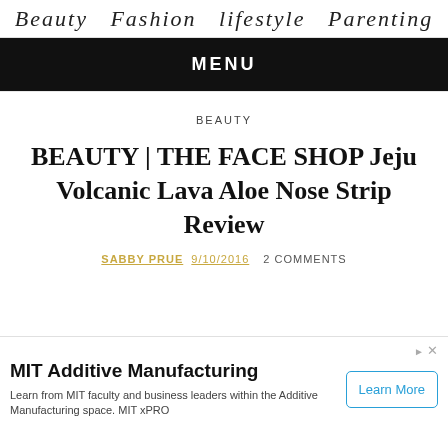Beauty  Fashion  lifestyle  Parenting
MENU
BEAUTY
BEAUTY | THE FACE SHOP Jeju Volcanic Lava Aloe Nose Strip Review
SABBY PRUE 9/10/2016   2 COMMENTS
[Figure (other): Advertisement: MIT Additive Manufacturing. Learn from MIT faculty and business leaders within the Additive Manufacturing space. MIT xPRO. Learn More button.]